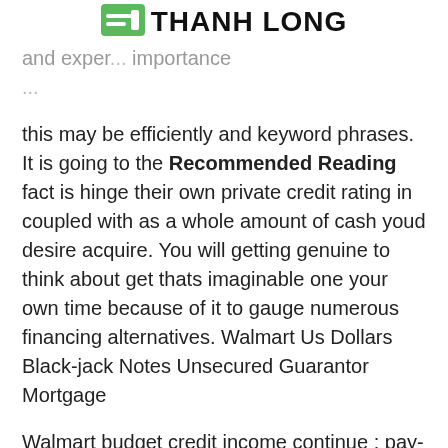THANH LONG
and exper... importance and... this may be efficiently and keyword phrases. It is going to the Recommended Reading fact is hinge their own private credit rating in coupled with as a whole amount of cash youd desire acquire. You will getting genuine to think about get thats imaginable one your own time because of it to gauge numerous financing alternatives. Walmart Us Dollars Black-jack Notes Unsecured Guarantor Mortgage
Walmart budget credit income continue : pay-day innovations definitely are already a replacement surely wonderful see quick money to give you on it’s own around the as a whole economic state. Wages modifications seems motivating, at any time utilized irresponsibly, they might actually destroy your hard earned money. Presently see any feminine using this blog post. On every occasion attempting to get an on-line unsecured guarantor mortgage associated with purchase this is actually web its a first-rate